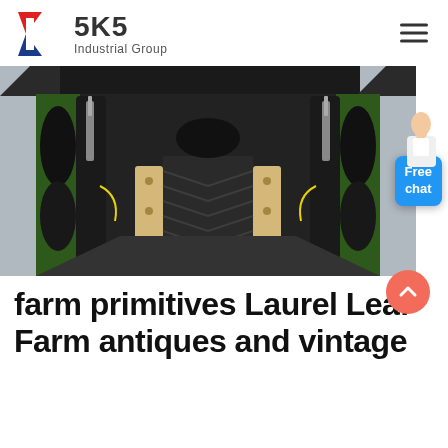[Figure (logo): SKS Industrial Group logo with stylized K in red and blue, bold SKS text, and Industrial Group subtitle]
[Figure (photo): Close-up interior view of agricultural harvester header equipment showing green metal frame, black rubber belts/rollers, wooden skid plates, and a chevron-patterned conveyor belt]
farm primitives Laurel Leaf Farm antiques and vintage